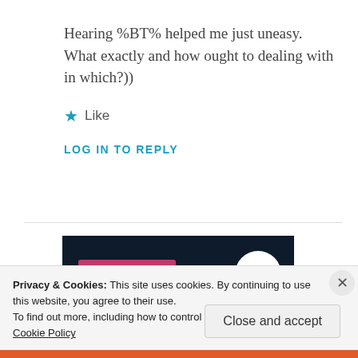Hearing %BT% helped me just uneasy. What exactly and how ought to dealing with in which?))
★ Like
LOG IN TO REPLY
[Figure (screenshot): Dark navy banner with pink 'Start a survey' button and white circular CrowdSignal logo on the right]
Privacy & Cookies: This site uses cookies. By continuing to use this website, you agree to their use.
To find out more, including how to control cookies, see here: Cookie Policy
Close and accept